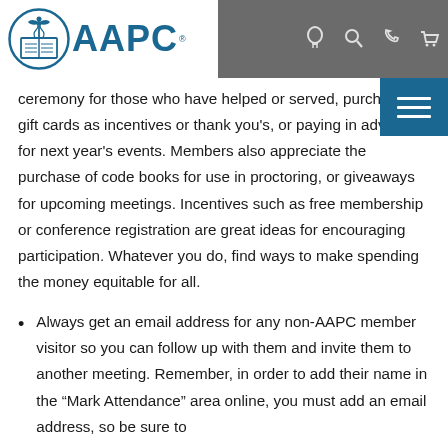[Figure (logo): AAPC logo with circular emblem and blue AAPC text]
ceremony for those who have helped or served, purchasing gift cards as incentives or thank you's, or paying in advance for next year's events. Members also appreciate the purchase of code books for use in proctoring, or giveaways for upcoming meetings. Incentives such as free membership or conference registration are great ideas for encouraging participation. Whatever you do, find ways to make spending the money equitable for all.
Always get an email address for any non-AAPC member visitor so you can follow up with them and invite them to another meeting. Remember, in order to add their name in the “Mark Attendance” area online, you must add an email address, so be sure to